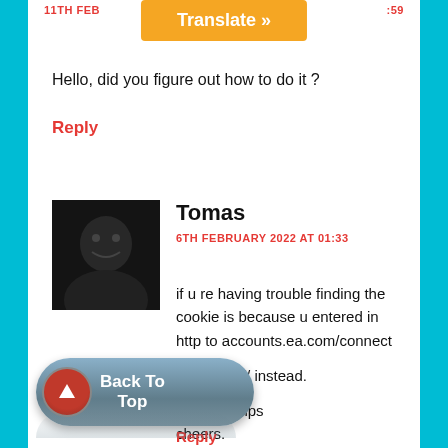11TH FEB... ...59
[Figure (screenshot): Orange Translate button]
Hello, did you figure out how to do it ?
Reply
[Figure (photo): Black and white avatar photo of Tomas]
Tomas
6TH FEBRUARY 2022 AT 01:33
if u re having trouble finding the cookie is because u entered in http to accounts.ea.com/connect

add https:// instead.

Hope it helps
cheers.
Reply
[Figure (screenshot): Back To Top button]